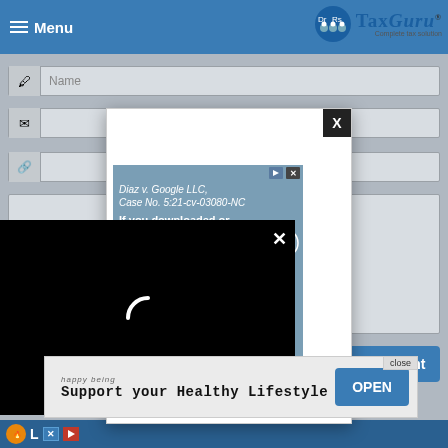[Figure (screenshot): Screenshot of TaxGuru website with overlapping modal dialogs, ads, and a video player loading spinner. Header shows TaxGuru logo and hamburger menu. Form fields for Name, Email, Link visible in background. White modal with X close button contains an ad for 'Diaz v. Google LLC, Case No. 5:21-cv-03080-NC' about a COVID-19 app lawsuit. A black video player overlay shows a loading spinner. A bottom banner ad reads 'Support your Healthy Lifestyle' with OPEN button and close label.]